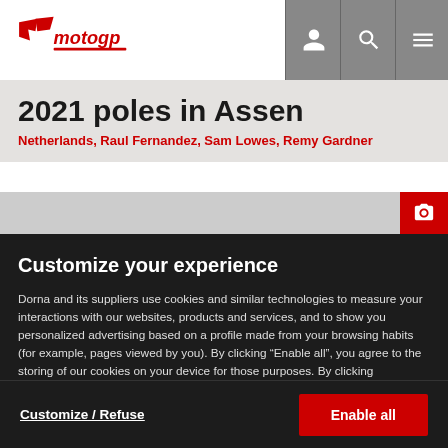MotoGP logo and navigation bar
2021 poles in Assen
Netherlands, Raul Fernandez, Sam Lowes, Remy Gardner
Customize your experience
Dorna and its suppliers use cookies and similar technologies to measure your interactions with our websites, products and services, and to show you personalized advertising based on a profile made from your browsing habits (for example, pages viewed by you). By clicking “Enable all”, you agree to the storing of our cookies on your device for those purposes. By clicking “Customize” you can choose which categories of cookies you prefer to enable or refuse, and you can also choose to refuse them all. You can always check our Cookies Policy for further information. Cookie Policy
Customize / Refuse | Enable all